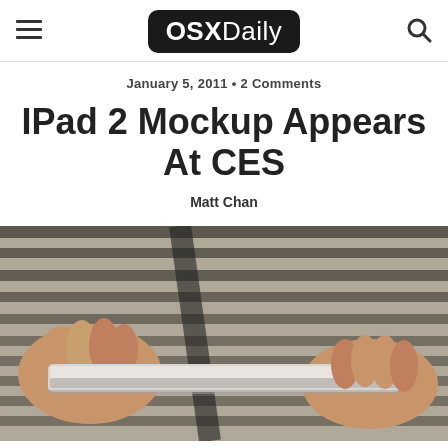OSXDaily
January 5, 2011 • 2 Comments
IPad 2 Mockup Appears At CES
Matt Chan
[Figure (photo): Person in striped shirt holding a thin tablet device (iPad 2 mockup), showing the side edge profile of the device]